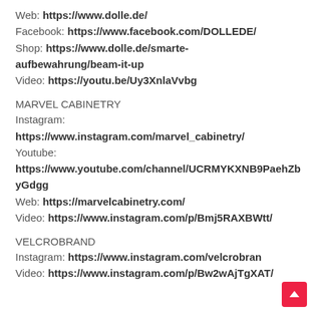Web: https://www.dolle.de/
Facebook: https://www.facebook.com/DOLLEDE/
Shop: https://www.dolle.de/smarte-aufbewahrung/beam-it-up
Video: https://youtu.be/Uy3XnlaVvbg
MARVEL CABINETRY
Instagram: https://www.instagram.com/marvel_cabinetry/
Youtube: https://www.youtube.com/channel/UCRMYKXNB9PaehZbyGdgg
Web: https://marvelcabinetry.com/
Video: https://www.instagram.com/p/Bmj5RAXBWtt/
VELCROBRAND
Instagram: https://www.instagram.com/velcrobran
Video: https://www.instagram.com/p/Bw2wAjTgXAT/